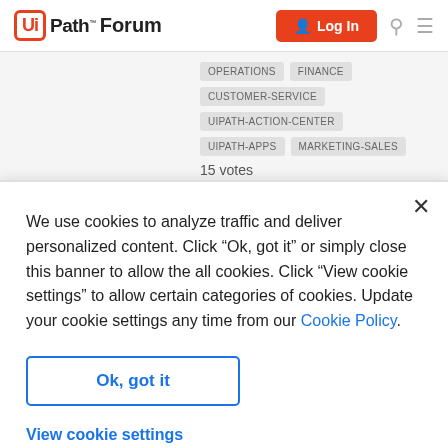UiPath Forum — Log In
OPERATIONS
FINANCE
CUSTOMER-SERVICE
UIPATH-ACTION-CENTER
UIPATH-APPS
MARKETING-SALES
15 votes
We use cookies to analyze traffic and deliver personalized content. Click “Ok, got it” or simply close this banner to allow the all cookies. Click “View cookie settings” to allow certain categories of cookies. Update your cookie settings any time from our Cookie Policy.
Ok, got it
View cookie settings